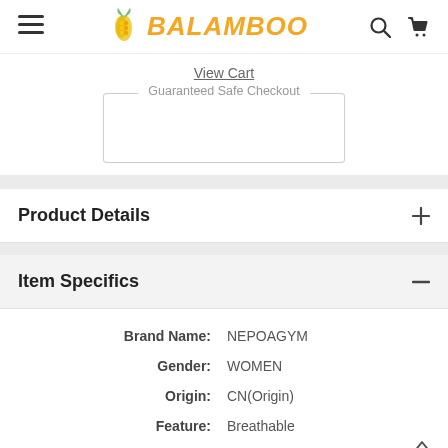BALAMBOO
View Cart
Guaranteed Safe Checkout
Product Details
Item Specifics
| Field | Value |
| --- | --- |
| Brand Name: | NEPOAGYM |
| Gender: | WOMEN |
| Origin: | CN(Origin) |
| Feature: | Breathable |
| Fit: | Fits true to size |